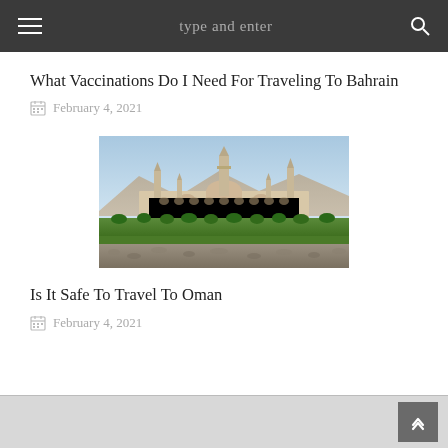type and enter
What Vaccinations Do I Need For Traveling To Bahrain
February 4, 2021
[Figure (photo): Photograph of Sultan Qaboos Grand Mosque in Oman, showing minarets, dome, and landscaped gardens with mountains in the background]
Is It Safe To Travel To Oman
February 4, 2021